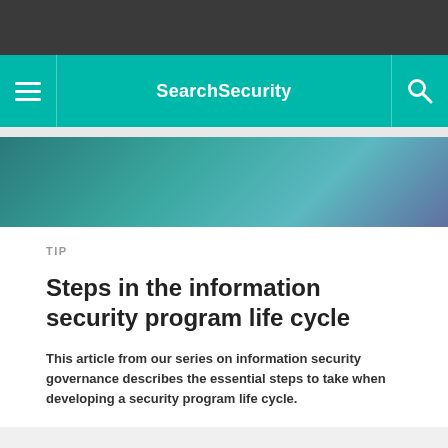SearchSecurity
TIP
Steps in the information security program life cycle
This article from our series on information security governance describes the essential steps to take when developing a security program life cycle.